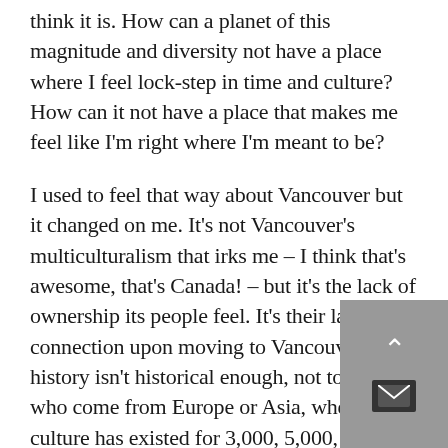think it is. How can a planet of this magnitude and diversity not have a place where I feel lock-step in time and culture? How can it not have a place that makes me feel like I'm right where I'm meant to be?
I used to feel that way about Vancouver but it changed on me. It's not Vancouver's multiculturalism that irks me – I think that's awesome, that's Canada! – but it's the lack of ownership its people feel. It's their lack of connection upon moving to Vancouver. Its history isn't historical enough, not to those who come from Europe or Asia, where culture has existed for 3,000, 5,000, or even 10,000 years. They move to Vancouver, where history comprises of the First Nations Canadian experience – as scant as that seems to be – and/or 150 years of colonial history. That's nothing to immigrants, sadly, and what little heritage Vancouver had is largely gone. Being here, now, I understand that disposable